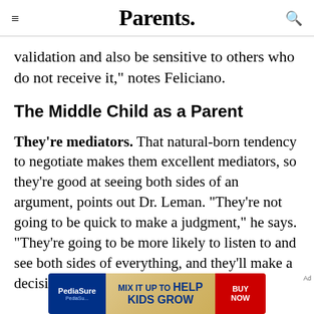Parents.
validation and also be sensitive to others who do not receive it," notes Feliciano.
The Middle Child as a Parent
They're mediators. That natural-born tendency to negotiate makes them excellent mediators, so they're good at seeing both sides of an argument, points out Dr. Leman. "They're not going to be quick to make a judgment," he says. "They're going to be more likely to listen to and see both sides of everything, and they'll make a decision based
[Figure (other): PediaSure advertisement banner: 'mix it up to HELP KIDS GROW' with BUY NOW button]